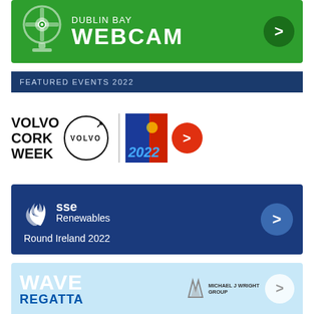[Figure (infographic): Dublin Bay Webcam green banner with webcam icon and arrow button]
[Figure (infographic): Featured Events 2022 dark blue header bar]
[Figure (logo): Volvo Cork Week logo section with Volvo circle logo, divider, 2022 flag logo and red arrow button]
[Figure (infographic): SSE Renewables Round Ireland 2022 dark blue banner with swirl logo and blue arrow button]
[Figure (infographic): Wave Regatta light blue banner with Michael J Wright Group logo and arrow button]